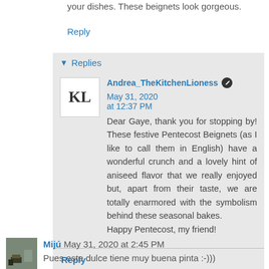your dishes. These beignets look gorgeous.
Reply
Replies
Andrea_TheKitchenLioness May 31, 2020 at 12:37 PM
Dear Gaye, thank you for stopping by! These festive Pentecost Beignets (as I like to call them in English) have a wonderful crunch and a lovely hint of aniseed flavor that we really enjoyed but, apart from their taste, we are totally enarmored with the symbolism behind these seasonal bakes.
Happy Pentecost, my friend!
Reply
Mijú May 31, 2020 at 2:45 PM
Pues este dulce tiene muy buena pinta :-))).